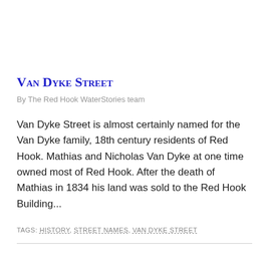Van Dyke Street
By The Red Hook WaterStories team
Van Dyke Street is almost certainly named for the Van Dyke family, 18th century residents of Red Hook. Mathias and Nicholas Van Dyke at one time owned most of Red Hook. After the death of Mathias in 1834 his land was sold to the Red Hook Building...
Tags: history, street names, Van Dyke Street
Wolcott Street
By The Red Hook WaterStories team